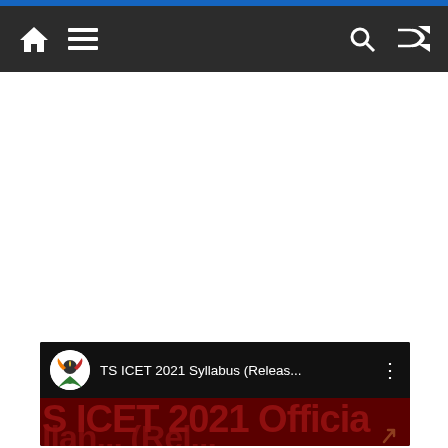[Figure (screenshot): Mobile website navigation bar with dark background, home icon, hamburger menu icon on left, and search and shuffle icons on right. Blue accent bar at the very top.]
[Figure (screenshot): YouTube video card thumbnail showing 'TS ICET 2021 Syllabus (Releas...' with a logo and three-dot menu. Below is a dark red overlay with large bold text reading 'S ICET 2021 Officia' and partial second line text.]